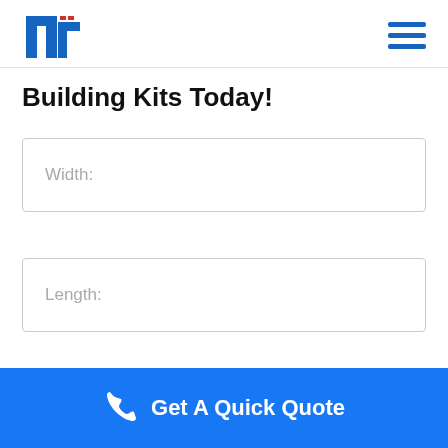[Figure (logo): Blue stylized T-bar logo with red accent marks, company logo top left]
[Figure (other): Hamburger menu icon (three horizontal blue lines) in top right corner]
Building Kits Today!
Width:
Length:
Height:
Get A Quick Quote